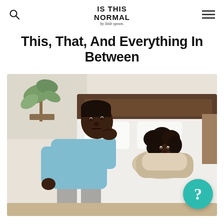IS THIS NORMAL by little spoon
This, That, And Everything In Between
[Figure (photo): A man sitting on the edge of a bed with his hand on his forehead looking distressed, while a woman lies in bed behind him looking concerned. Bedroom setting with white bedding and pillows. A teal circular button with a question mark is overlaid in the lower right corner.]